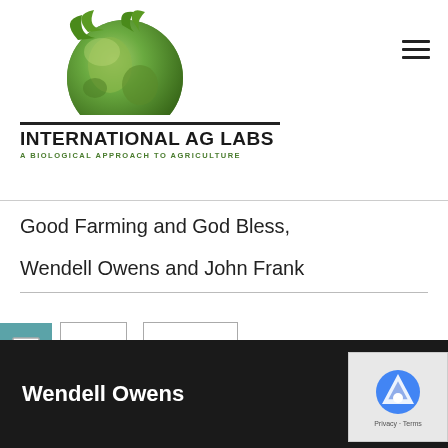[Figure (logo): International Ag Labs logo with globe and leaves, text 'International Ag Labs' and 'A Biological Approach to Agriculture']
Good Farming and God Bless,
Wendell Owens and John Frank
Print  Email
Wendell Owens